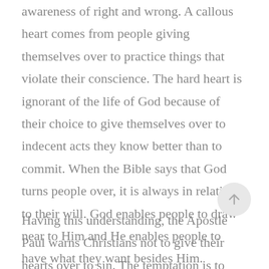everyone is born with a conscious awareness of right and wrong. A callous heart comes from people giving themselves over to practice things that violate their conscience. The hard heart is ignorant of the life of God because of their choice to give themselves over to indecent acts they know better than to commit. When the Bible says that God turns people over, it is always in relation to their will. God enables people to draw near to Him and He enables people to have what they want besides Him.
Having this understanding, the Apostle Paul warns Christians not to give their hearts over to sin. The temptation is to